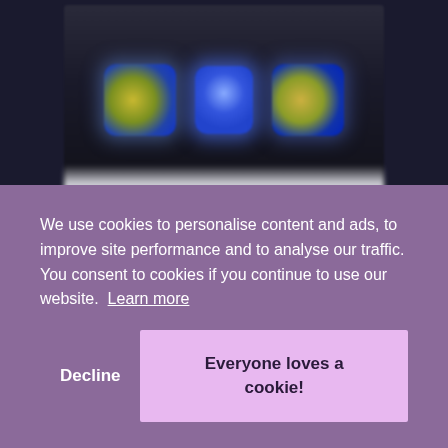[Figure (screenshot): Blurred screenshot of a dark-themed webpage or app showing three colorful icon/image tiles with blue and yellow-green colors against a dark background, with a light gray bar at the bottom.]
We use cookies to personalise content and ads, to improve site performance and to analyse our traffic. You consent to cookies if you continue to use our website. Learn more
Decline
Everyone loves a cookie!